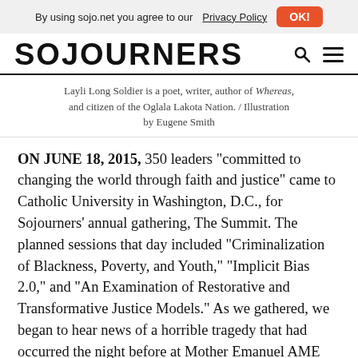By using sojo.net you agree to our Privacy Policy OK!
SOJOURNERS
Layli Long Soldier is a poet, writer, author of Whereas, and citizen of the Oglala Lakota Nation. / Illustration by Eugene Smith
ON JUNE 18, 2015, 350 leaders “committed to changing the world through faith and justice” came to Catholic University in Washington, D.C., for Sojourners’ annual gathering, The Summit. The planned sessions that day included “Criminalization of Blackness, Poverty, and Youth,” “Implicit Bias 2.0,” and “An Examination of Restorative and Transformative Justice Models.” As we gathered, we began to hear news of a horrible tragedy that had occurred the night before at Mother Emanuel AME Church in Charleston, S.C. We learned that nine church members were killed by a white supremacist during a Bible study. Our gathering became a time to hold one another in prayerful lamentation and shared